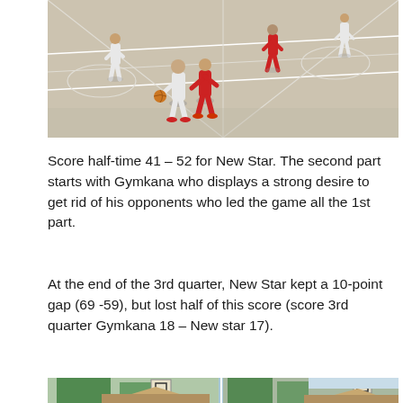[Figure (photo): Basketball game being played on an outdoor court with players in red and white uniforms dribbling and guarding]
Score half-time 41 – 52 for New Star. The second part starts with Gymkana who displays a strong desire to get rid of his opponents who led the game all the 1st part.
At the end of the 3rd quarter, New Star kept a 10-point gap (69 -59), but lost half of this score (score 3rd quarter Gymkana 18 – New star 17).
[Figure (photo): Outdoor basketball court with a backboard/hoop visible, trees and buildings in the background]